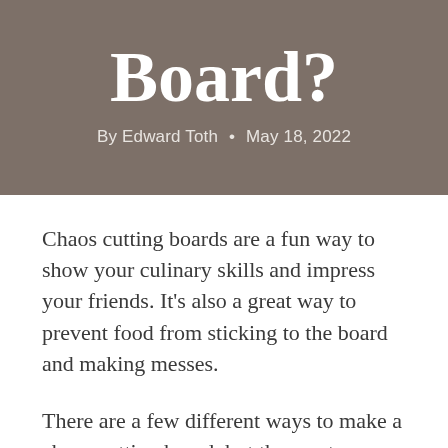Board?
By Edward Toth • May 18, 2022
Chaos cutting boards are a fun way to show your culinary skills and impress your friends. It's also a great way to prevent food from sticking to the board and making messes.
There are a few different ways to make a chaos cutting board, but the most common is to use plywood or MDF and cover it with butcher paper or heavy-duty aluminum foil. Then, you can cut up